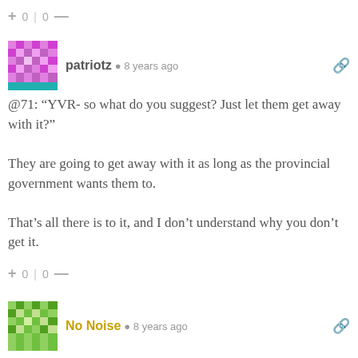+ 0 | 0 —
[Figure (illustration): Pink and purple mosaic/geometric pattern avatar for user patriotz]
patriotz  8 years ago
@71: “YVR- so what do you suggest? Just let them get away with it?”

They are going to get away with it as long as the provincial government wants them to.

That’s all there is to it, and I don’t understand why you don’t get it.
+ 0 | 0 —
[Figure (illustration): Green and white mosaic/geometric pattern avatar for user No Noise]
No Noise  8 years ago